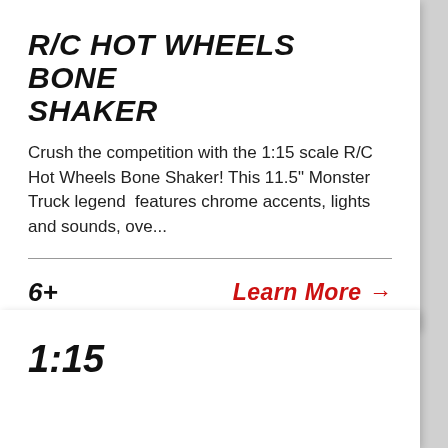R/C HOT WHEELS BONE SHAKER
Crush the competition with the 1:15 scale R/C Hot Wheels Bone Shaker! This 11.5" Monster Truck legend  features chrome accents, lights and sounds, ove...
6+
Learn More →
1:15